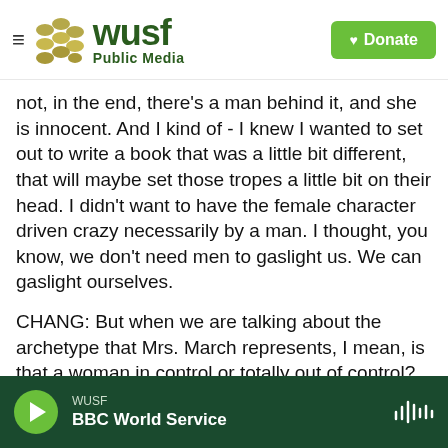WUSF Public Media — Donate
not, in the end, there's a man behind it, and she is innocent. And I kind of - I knew I wanted to set out to write a book that was a little bit different, that will maybe set those tropes a little bit on their head. I didn't want to have the female character driven crazy necessarily by a man. I thought, you know, we don't need men to gaslight us. We can gaslight ourselves.
CHANG: But when we are talking about the archetype that Mrs. March represents, I mean, is that a woman in control or totally out of control? What kind of power do you think she does have?
WUSF — BBC World Service